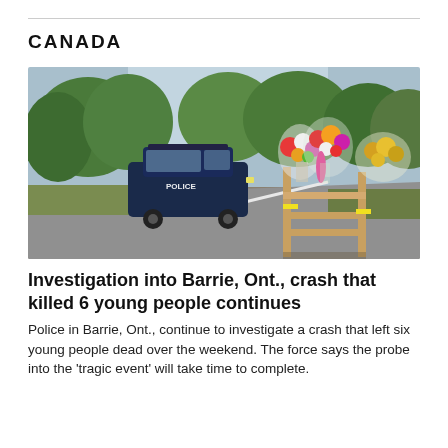CANADA
[Figure (photo): A police SUV parked on a rural road with yellow police tape, and a wooden roadside memorial with several bouquets of flowers wrapped in cellophane in the foreground. Trees and blue sky in the background.]
Investigation into Barrie, Ont., crash that killed 6 young people continues
Police in Barrie, Ont., continue to investigate a crash that left six young people dead over the weekend. The force says the probe into the 'tragic event' will take time to complete.